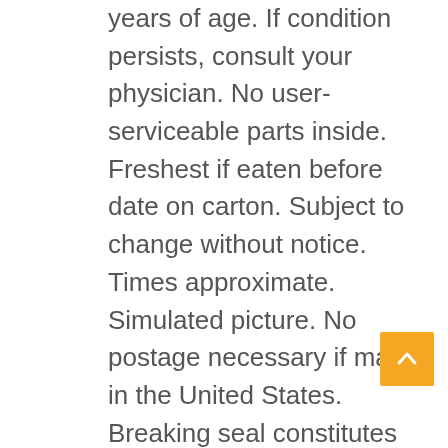years of age.  If condition persists, consult your physician.  No user-serviceable parts inside.  Freshest if eaten before date on carton. Subject to change without notice.  Times approximate.  Simulated picture.  No postage necessary if mailed in the United States.  Breaking seal constitutes acceptance of agreement.  For off-road use only.  As seen on TV.  One size fits all.  Check your claim ticket, many suitcases look alike.  Contains a substantial amount of non-tobacco ingredients.  Colors may, in time, fade.  We have sent the forms which seem right for you. Slippery when wet.  For office use only.  Not affiliated with the American Red Cross.  Drop in any mailbox.  Edited for television.  Keep cool and dry; process promptly.  Place stamp here – Post Office will not deliver without postage.  List was current at time of printing.  Return to sender, no forwarding order on file, unable to forward.  Rabid Models is not responsible for direct, indirect, incidental or consequential damages resulting from any defect